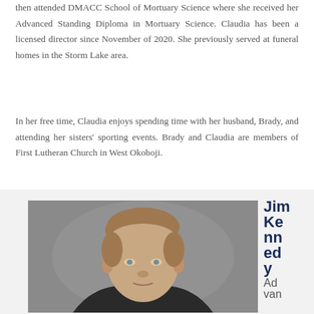then attended DMACC School of Mortuary Science where she received her Advanced Standing Diploma in Mortuary Science. Claudia has been a licensed director since November of 2020. She previously served at funeral homes in the Storm Lake area.
In her free time, Claudia enjoys spending time with her husband, Brady, and attending her sisters' sporting events. Brady and Claudia are members of First Lutheran Church in West Okoboji.
[Figure (photo): Portrait photo of Jim Kennedy, a middle-aged man with light brown hair, wearing a dark suit, photographed against a grey background.]
Jim Kennedy Advanced